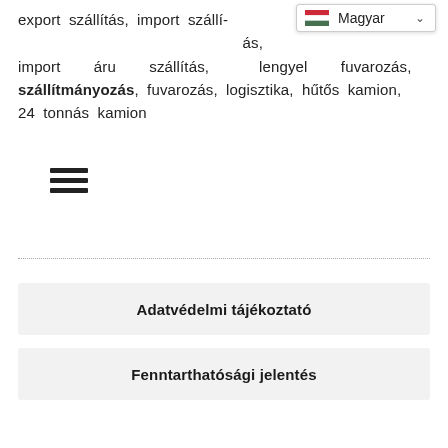export szállítás, import szállítás, import áru szállítás, lengyel fuvarozás, szállítmányozás, fuvarozás, logisztika, hűtős kamion, 24 tonnás kamion
[Figure (other): Language selector dropdown showing Hungarian flag and 'Magyar' label with chevron]
[Figure (other): Hamburger menu icon — three horizontal lines]
Adatvédelmi tájékoztató
Fenntarthatósági jelentés